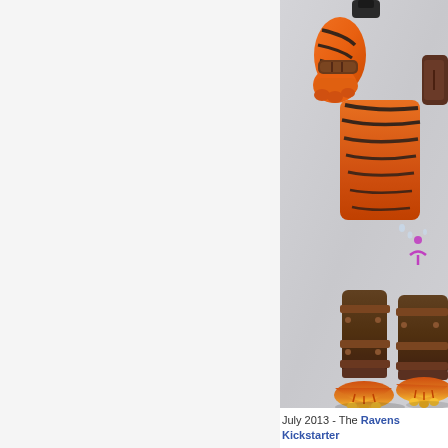[Figure (photo): Partial view of an orange and black tiger-striped anthropomorphic action figure with brown armor/boots, orange clawed hand visible at top, purple symbol on thigh area, yellow-orange hoofed feet at bottom. Background is light grey.]
July 2013 - The Ravens Kickstarter